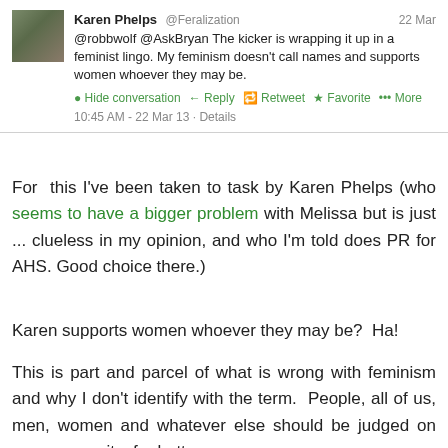[Figure (screenshot): Tweet from Karen Phelps @Feralization dated 22 Mar: '@robbwolf @AskBryan The kicker is wrapping it up in a feminist lingo. My feminism doesn't call names and supports women whoever they may be.' with Hide conversation, Reply, Retweet, Favorite, More actions. Timestamp: 10:45 AM - 22 Mar 13 · Details]
For this I've been taken to task by Karen Phelps (who seems to have a bigger problem with Melissa but is just ... clueless in my opinion, and who I'm told does PR for AHS. Good choice there.)
Karen supports women whoever they may be?  Ha!
This is part and parcel of what is wrong with feminism and why I don't identify with the term.  People, all of us, men, women and whatever else should be judged on our own merits, for better or worse.